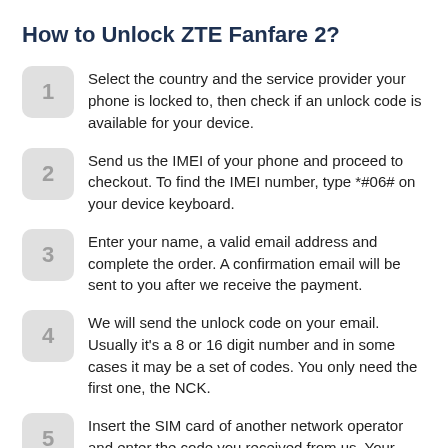How to Unlock ZTE Fanfare 2?
1. Select the country and the service provider your phone is locked to, then check if an unlock code is available for your device.
2. Send us the IMEI of your phone and proceed to checkout. To find the IMEI number, type *#06# on your device keyboard.
3. Enter your name, a valid email address and complete the order. A confirmation email will be sent to you after we receive the payment.
4. We will send the unlock code on your email. Usually it's a 8 or 16 digit number and in some cases it may be a set of codes. You only need the first one, the NCK.
5. Insert the SIM card of another network operator and enter the code you received from us. Your phone is now unlocked!